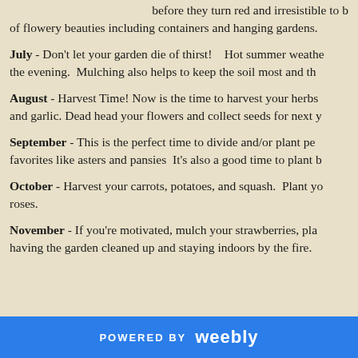before they turn red and irresistible to birds. of flowery beauties including containers and hanging gardens.
July - Don't let your garden die of thirst!   Hot summer weather... the evening.  Mulching also helps to keep the soil most and th...
August - Harvest Time! Now is the time to harvest your herbs... and garlic. Dead head your flowers and collect seeds for next y...
September - This is the perfect time to divide and/or plant pe... favorites like asters and pansies  It's also a good time to plant b...
October - Harvest your carrots, potatoes, and squash.  Plant yo... roses.
November - If you're motivated, mulch your strawberries, pla... having the garden cleaned up and staying indoors by the fire.
POWERED BY weebly